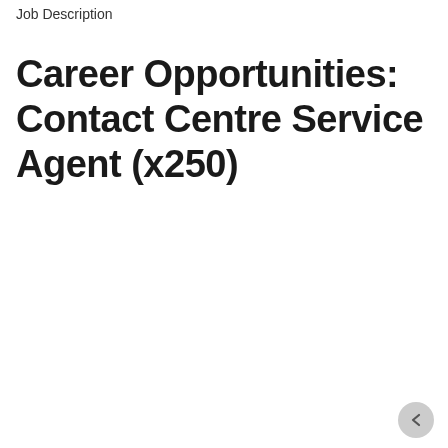Job Description
Career Opportunities: Contact Centre Service Agent (x250)